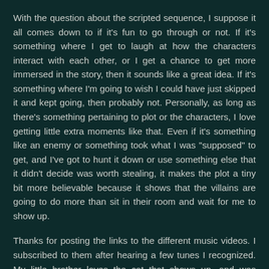With the question about the scripted sequence, I suppose it all comes down to if it's fun to go through or not. If it's something where I get to laugh at how the characters interact with each other, or I get a chance to get more immersed in the story, then it sounds like a great idea. If it's something where I'm going to wish I could have just skipped it and kept going, then probably not. Personally, as long as there's something pertaining to plot or the characters, I love getting little extra moments like that. Even if it's something like an enemy or something took what I was "supposed" to get, and I've got to hunt it down or use something else that it didn't decide was worth stealing, it makes the plot a tiny bit more believable because it shows that the villains are going to do more than sit in their room and wait for me to show up.
Thanks for posting the links to the different music videos. I subscribed to them after hearing a few tunes I recognized. My little brother loves the cat that shows up, and was actually singing along to his song about the cat after picking up the lyrics halfway through the song. With the Chrono